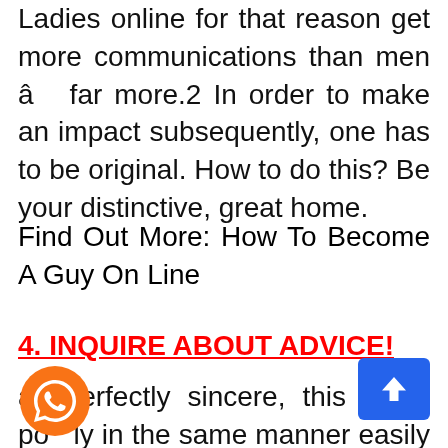Ladies online for that reason get more communications than men â far more.2 In order to make an impact subsequently, one has to be original. How to do this? Be your distinctive, great home.
Find Out More: How To Become A Guy On Line
4. INQUIRE ABOUT ADVICE!
as perfectly sincere, this could possibly in the same manner easily be an online matchmaking tip for women. Undoubtedly, irrespective who you are, could be a smart idea to require 2nd view